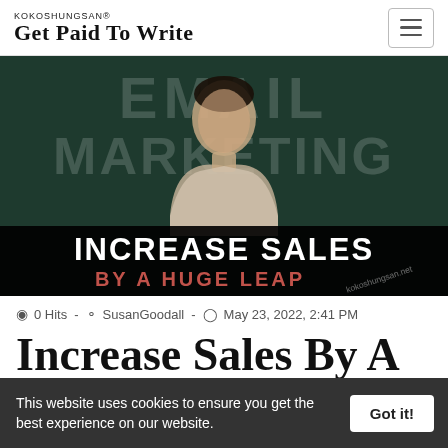KOKOSHUNGSAN® Get Paid To Write
[Figure (photo): Hero image showing a woman in a beige blazer against a dark green background with large text reading EMAIL MARKETING. A black bar overlay at the bottom reads INCREASE SALES BY A HUGE LEAP with watermark kokoshungsan.net]
0 Hits - SusanGoodall - May 23, 2022, 2:41 PM
Increase Sales By A
This website uses cookies to ensure you get the best experience on our website. Got it!